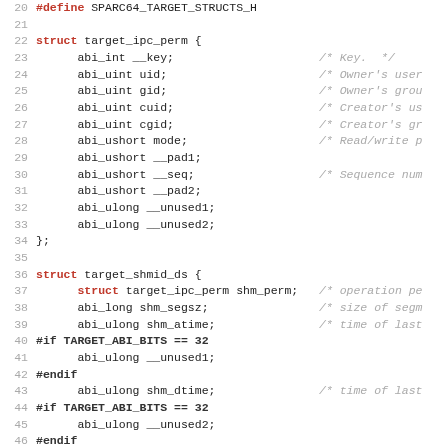[Figure (screenshot): Source code listing in C showing struct definitions target_ipc_perm and target_shmid_ds with line numbers 20-51, including field declarations and comments]